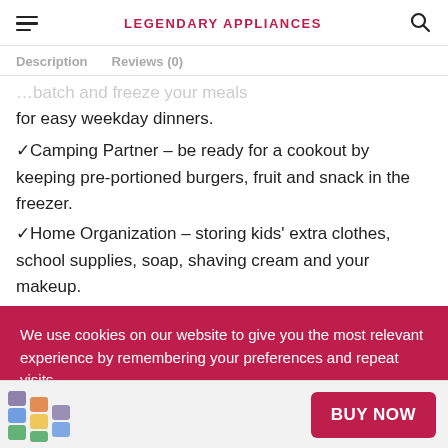LEGENDARY APPLIANCES
Description   Reviews (0)
...batch and freeze your meals for easy weekday dinners.
✓Camping Partner – be ready for a cookout by keeping pre-portioned burgers, fruit and snack in the freezer.
✓Home Organization – storing kids' extra clothes, school supplies, soap, shaving cream and your makeup.
We use cookies on our website to give you the most relevant experience by remembering your preferences and repeat visits.
BUY NOW